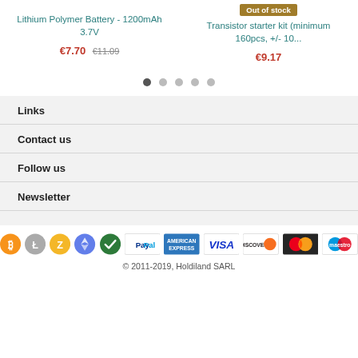Lithium Polymer Battery - 1200mAh 3.7V
€7.70 €11.09
Out of stock
Transistor starter kit (minimum 160pcs, +/- 10...
€9.17
Links
Contact us
Follow us
Newsletter
[Figure (other): Payment method icons: Bitcoin, Litecoin, Zcash, Ethereum, Verified, PayPal, American Express, VISA, Discover, MasterCard, Maestro]
© 2011-2019, Holdiland SARL